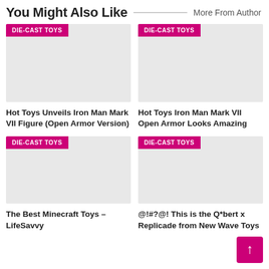You Might Also Like
More From Author
[Figure (photo): DIE-CAST TOYS placeholder image (light grey)]
Hot Toys Unveils Iron Man Mark VII Figure (Open Armor Version)
[Figure (photo): DIE-CAST TOYS placeholder image (light grey)]
Hot Toys Iron Man Mark VII Open Armor Looks Amazing
[Figure (photo): DIE-CAST TOYS placeholder image (light grey)]
The Best Minecraft Toys – LifeSavvy
[Figure (photo): DIE-CAST TOYS placeholder image (light grey)]
@!#?@! This is the Q*bert x Replicade from New Wave Toys